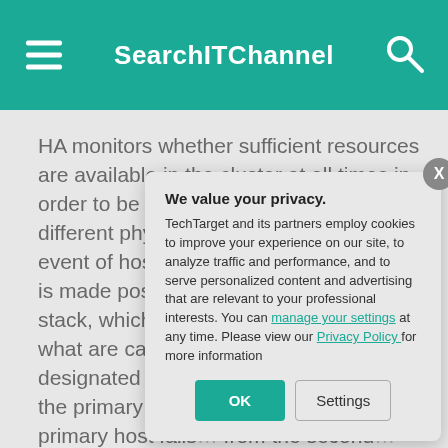SearchITChannel
HA monitors whether sufficient resources are available in the cluster at all times in order to be able to restart VMs on different physical host machines in the event of host failure. Safe restart of VMs is made possible by the locking techn... stack, which allo... access to the sa... on what are calle... the first five host... designated as p... in the cluster are... of the primary ho... state of the clust... primary host fails... from the second... cluster must con...
We value your privacy.
TechTarget and its partners employ cookies to improve your experience on our site, to analyze traffic and performance, and to serve personalized content and advertising that are relevant to your professional interests. You can manage your settings at any time. Please view our Privacy Policy for more information